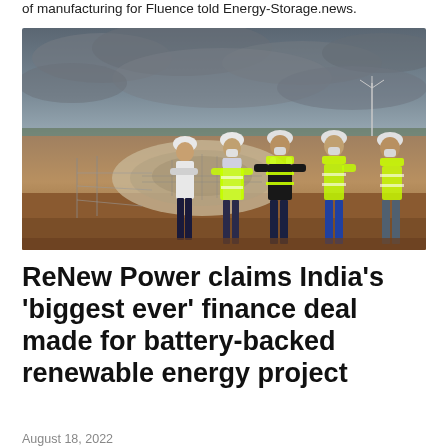of manufacturing for Fluence told Energy-Storage.news.
[Figure (photo): Several workers wearing white hard hats and high-visibility yellow/green vests standing on a construction site with reddish-brown earth, a circular foundation structure visible, and an overcast grey sky in the background.]
ReNew Power claims India's 'biggest ever' finance deal made for battery-backed renewable energy project
August 18, 2022